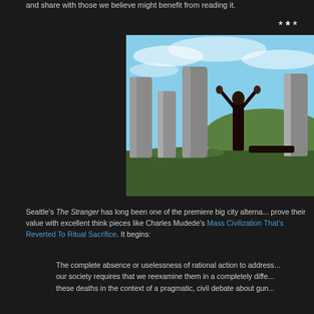and share with those we believe might benefit from reading it.
* * *
[Figure (photo): A person in dark robes kneeling with arms raised among standing stones (megalithic stone circle), with green hills and blue sky in background. Another figure lies prostrate on the ground.]
Seattle's The Stranger has long been one of the premiere big city alterna... prove their value with excellent think pieces like Charles Mudede's Mass Civilization That's Reverted To Ritual Sacrifice. It begins:
The complete absence or uselessness of rational action to address... our society requires that we reexamine them in a completely diffe... these deaths in the context of a pragmatic, civil debate about gun...